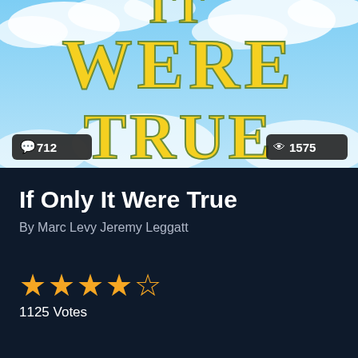[Figure (photo): Book cover for 'If Only It Were True' showing large yellow text 'WERE TRUE' on a blue sky background with clouds. Two dark badge overlays at bottom: left shows comment icon with '712', right shows eye icon with '1575'.]
If Only It Were True
By Marc Levy Jeremy Leggatt
★★★★☆ 1125 Votes